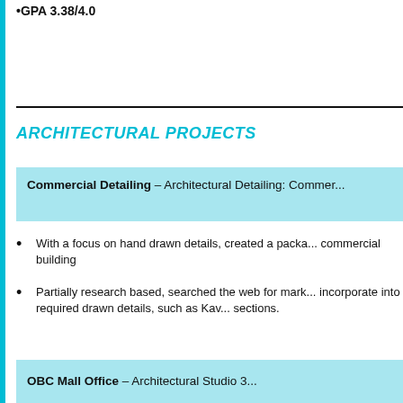•GPA 3.38/4.0
ARCHITECTURAL PROJECTS
Commercial Detailing – Architectural Detailing: Commer...
With a focus on hand drawn details, created a packa... commercial building
Partially research based, searched the web for mark... incorporate into required drawn details, such as Ka... sections.
OBC Mall Office – Architectural Studio 3...